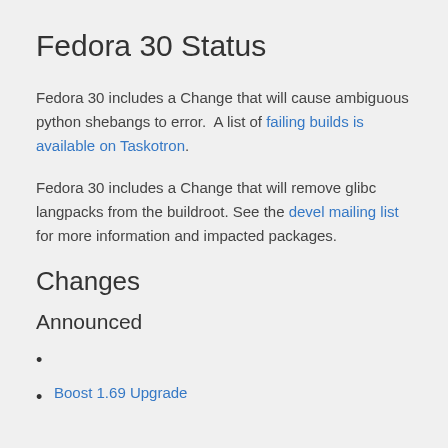Fedora 30 Status
Fedora 30 includes a Change that will cause ambiguous python shebangs to error. A list of failing builds is available on Taskotron.
Fedora 30 includes a Change that will remove glibc langpacks from the buildroot. See the devel mailing list for more information and impacted packages.
Changes
Announced
Boost 1.69 Upgrade